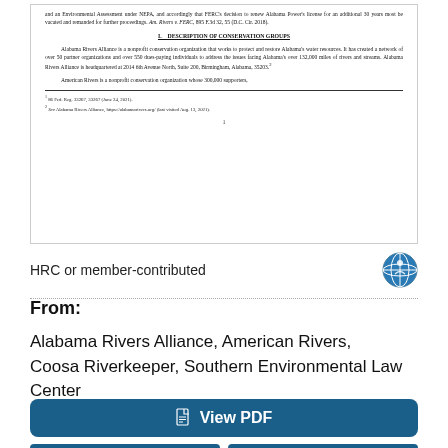[Figure (screenshot): Scanned legal document page showing text about Alabama Power's license, a section header 'DESCRIPTION OF CONSERVATION GROUPS', paragraphs about Alabama Rivers Alliance and American Rivers, footnotes, and page number 1.]
HRC or member-contributed
From:
Alabama Rivers Alliance, American Rivers, Coosa Riverkeeper, Southern Environmental Law Center
View PDF